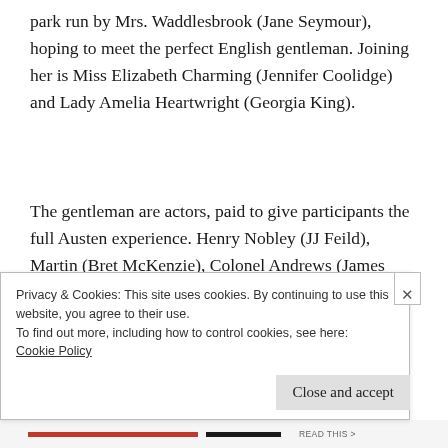park run by Mrs. Waddlesbrook (Jane Seymour), hoping to meet the perfect English gentleman. Joining her is Miss Elizabeth Charming (Jennifer Coolidge) and Lady Amelia Heartwright (Georgia King).
The gentleman are actors, paid to give participants the full Austen experience. Henry Nobley (JJ Feild), Martin (Bret McKenzie), Colonel Andrews (James Callis) and Captain George Fent (Ricky Whittle).
Privacy & Cookies: This site uses cookies. By continuing to use this website, you agree to their use.
To find out more, including how to control cookies, see here:
Cookie Policy
Close and accept